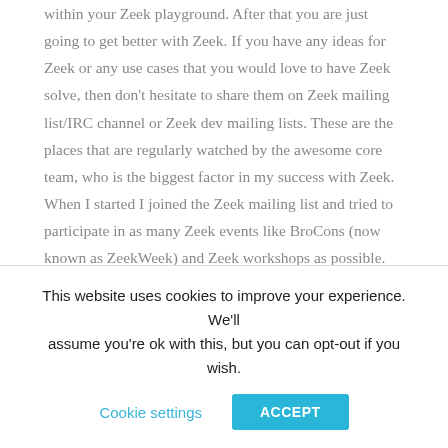within your Zeek playground. After that you are just going to get better with Zeek. If you have any ideas for Zeek or any use cases that you would love to have Zeek solve, then don't hesitate to share them on Zeek mailing list/IRC channel or Zeek dev mailing lists. These are the places that are regularly watched by the awesome core team, who is the biggest factor in my success with Zeek. When I started I joined the Zeek mailing list and tried to participate in as many Zeek events like BroCons (now known as ZeekWeek) and Zeek workshops as possible. This participation gives me opportunity to meet the developers face to face,
This website uses cookies to improve your experience. We'll assume you're ok with this, but you can opt-out if you wish.
Cookie settings
ACCEPT